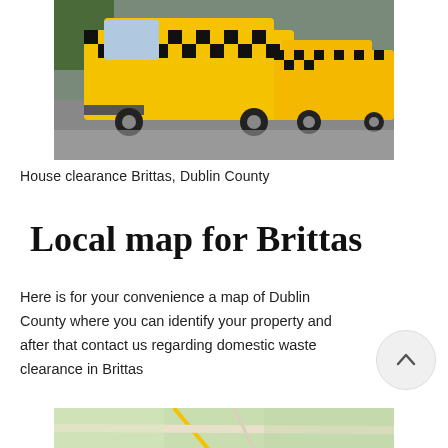[Figure (photo): Yellow commercial vans/trucks with checkered black and yellow markings parked on a road, used for house clearance services.]
House clearance Brittas, Dublin County
Local map for Brittas
Here is for your convenience a map of Dublin County where you can identify your property and after that contact us regarding domestic waste clearance in Brittas
[Figure (map): Partial view of a map showing Dublin County area near Brittas, with road lines visible on a light green/beige background.]